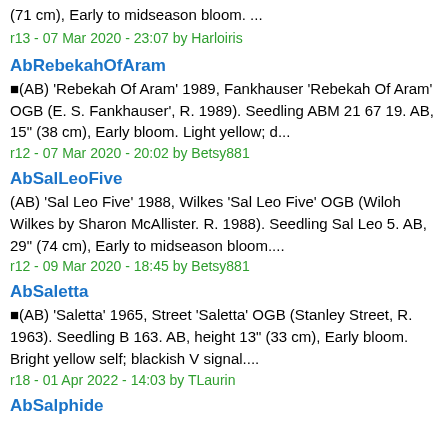(71 cm), Early to midseason bloom. ...
r13 - 07 Mar 2020 - 23:07 by Harloiris
AbRebekahOfAram
■(AB) 'Rebekah Of Aram' 1989, Fankhauser 'Rebekah Of Aram' OGB (E. S. Fankhauser', R. 1989). Seedling ABM 21 67 19. AB, 15" (38 cm), Early bloom. Light yellow; d...
r12 - 07 Mar 2020 - 20:02 by Betsy881
AbSalLeoFive
(AB) 'Sal Leo Five' 1988, Wilkes 'Sal Leo Five' OGB (Wiloh Wilkes by Sharon McAllister. R. 1988). Seedling Sal Leo 5. AB, 29" (74 cm), Early to midseason bloom....
r12 - 09 Mar 2020 - 18:45 by Betsy881
AbSaletta
■(AB) 'Saletta' 1965, Street 'Saletta' OGB (Stanley Street, R. 1963). Seedling B 163. AB, height 13" (33 cm), Early bloom. Bright yellow self; blackish V signal....
r18 - 01 Apr 2022 - 14:03 by TLaurin
AbSalphide